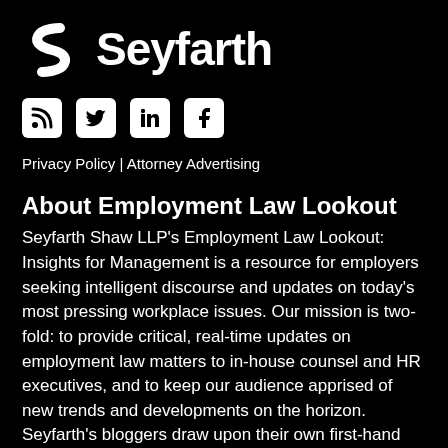[Figure (logo): Seyfarth logo with stylized S icon and wordmark 'Seyfarth' in white on black background]
[Figure (infographic): Row of four social media icons: RSS feed, Twitter bird, LinkedIn 'in', Facebook 'f' — white icons on white rounded-square backgrounds]
Privacy Policy | Attorney Advertising
About Employment Law Lookout
Seyfarth Shaw LLP's Employment Law Lookout: Insights for Management is a resource for employers seeking intelligent discourse and updates on today's most pressing workplace issues. Our mission is two-fold: to provide critical, real-time updates on employment law matters to in-house counsel and HR executives, and to keep our audience apprised of new trends and developments on the horizon. Seyfarth's bloggers draw upon their own first-hand experiences